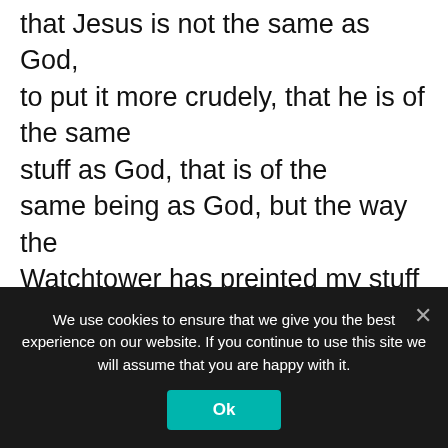was meaning to say, as you well know, is that Jesus is not the same as God, to put it more crudely, that he is of the same stuff as God, that is of the same being as God, but the way the Watchtower has preinted my stuff has simply lef the conclusion that Jesus is not God in a way tha suits themsleves.

If they misssed from their answer the translation of Kenneth Wuest and the
We use cookies to ensure that we give you the best experience on our website. If you continue to use this site we will assume that you are happy with it.